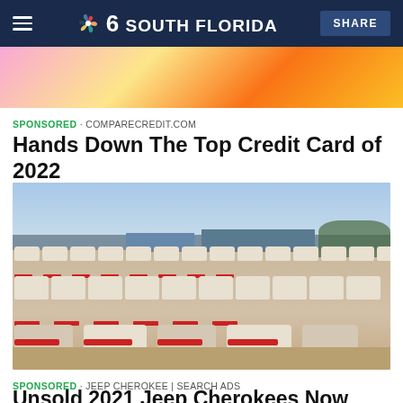NBC 6 SOUTH FLORIDA | SHARE
[Figure (photo): Partial view of a colorful advertisement banner with pink, orange and yellow tones]
SPONSORED · COMPARECREDIT.COM
Hands Down The Top Credit Card of 2022
[Figure (photo): Large outdoor car lot filled with rows of white/beige SUVs and sedans parked in a dusty open area with industrial buildings and blue sky in background]
SPONSORED · JEEP CHEROKEE | SEARCH ADS
Unsold 2021 Jeep Cherokees Now Almost Being